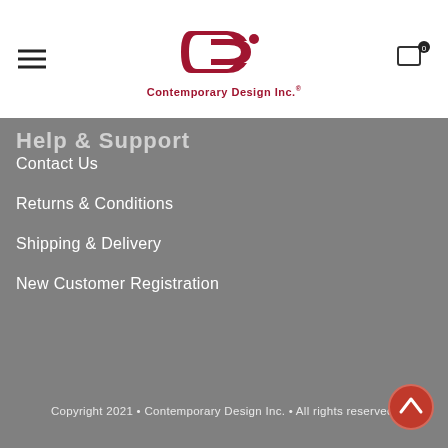Contemporary Design Inc. — navigation header with logo, hamburger menu, and cart icon
Help & Support
Contact Us
Returns & Conditions
Shipping & Delivery
New Customer Registration
Copyright 2021 • Contemporary Design Inc. • All rights reserved.